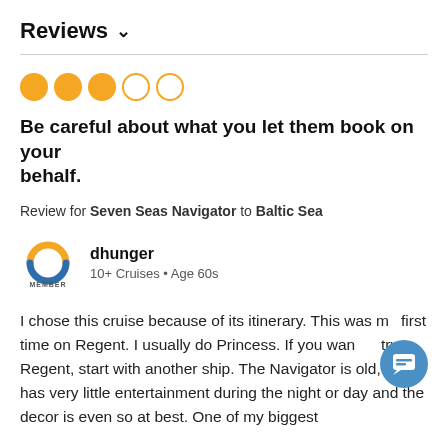Reviews ∨
[Figure (other): 3 filled orange circles and 2 empty orange circle outlines representing a 3 out of 5 rating]
Be careful about what you let them book on your behalf.
Review for Seven Seas Navigator to Baltic Sea
[Figure (logo): Cruise Critic member logo with orange and blue C icon and MEMBER text below]
dhunger
10+ Cruises • Age 60s
I chose this cruise because of its itinerary. This was my first time on Regent. I usually do Princess. If you want to try Regent, start with another ship. The Navigator is old, small, has very little entertainment during the night or day and the decor is even so at best. One of my biggest